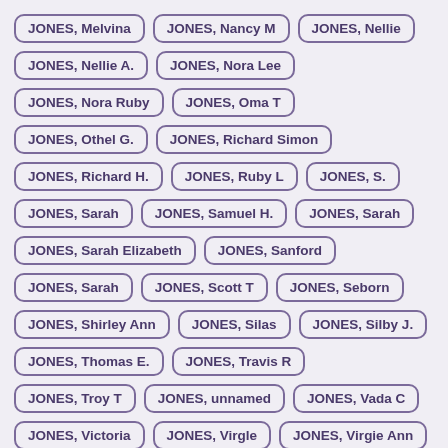JONES, Melvina
JONES, Nancy M
JONES, Nellie
JONES, Nellie A.
JONES, Nora Lee
JONES, Nora Ruby
JONES, Oma T
JONES, Othel G.
JONES, Richard Simon
JONES, Richard H.
JONES, Ruby L
JONES, S.
JONES, Sarah
JONES, Samuel H.
JONES, Sarah
JONES, Sarah Elizabeth
JONES, Sanford
JONES, Sarah
JONES, Scott T
JONES, Seborn
JONES, Shirley Ann
JONES, Silas
JONES, Silby J.
JONES, Thomas E.
JONES, Travis R
JONES, Troy T
JONES, unnamed
JONES, Vada C
JONES, Victoria
JONES, Virgle
JONES, Virgie Ann
JONES, W Hugh
JONES, Walter
JONES, William A